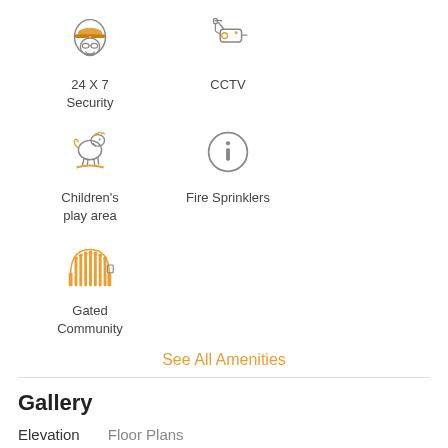[Figure (illustration): Grid of amenity icons: 24 X 7 Security (officer icon), CCTV (camera icon), Children's play area (rocking horse icon), Fire Sprinklers (info/sprinkler icon), Gated Community (gate icon)]
See All Amenities
Gallery
Elevation
Floor Plans
phoenix Images for
Elevation of Krisan